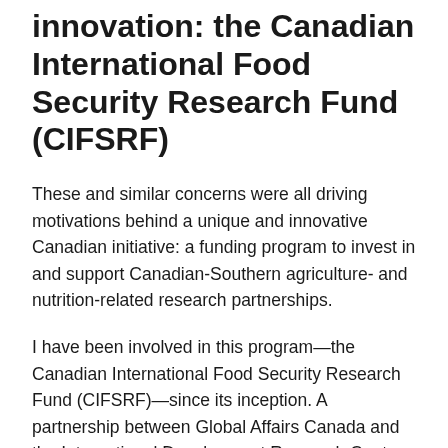innovation: the Canadian International Food Security Research Fund (CIFSRF)
These and similar concerns were all driving motivations behind a unique and innovative Canadian initiative: a funding program to invest in and support Canadian-Southern agriculture- and nutrition-related research partnerships.
I have been involved in this program—the Canadian International Food Security Research Fund (CIFSRF)—since its inception. A partnership between Global Affairs Canada and the International Development Research Centre, CIFSRF was built on the firm conviction that this type of collaboration holds the